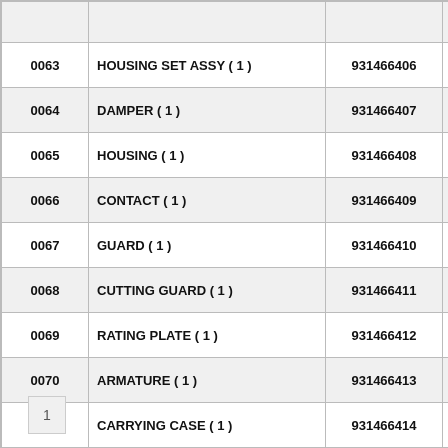| Num | Name | Part No | Order No |
| --- | --- | --- | --- |
| 0063 | HOUSING SET ASSY ( 1 ) | 931466406 | 4931466406 |
| 0064 | DAMPER ( 1 ) | 931466407 | 4931466407 |
| 0065 | HOUSING ( 1 ) | 931466408 | 4931466408 |
| 0066 | CONTACT ( 1 ) | 931466409 | 4931466409 |
| 0067 | GUARD ( 1 ) | 931466410 | 4931466410 |
| 0068 | CUTTING GUARD ( 1 ) | 931466411 | 4931466411 |
| 0069 | RATING PLATE ( 1 ) | 931466412 | 4931466412 |
| 0070 | ARMATURE ( 1 ) | 931466413 | 4931466413 |
| 0700 | CARRYING CASE ( 1 ) | 931466414 | 4931466414 |
1